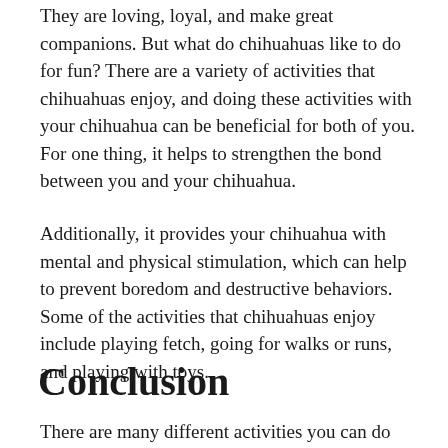They are loving, loyal, and make great companions. But what do chihuahuas like to do for fun? There are a variety of activities that chihuahuas enjoy, and doing these activities with your chihuahua can be beneficial for both of you. For one thing, it helps to strengthen the bond between you and your chihuahua.
Additionally, it provides your chihuahua with mental and physical stimulation, which can help to prevent boredom and destructive behaviors. Some of the activities that chihuahuas enjoy include playing fetch, going for walks or runs, and playing with toys.
Conclusion
There are many different activities you can do with your